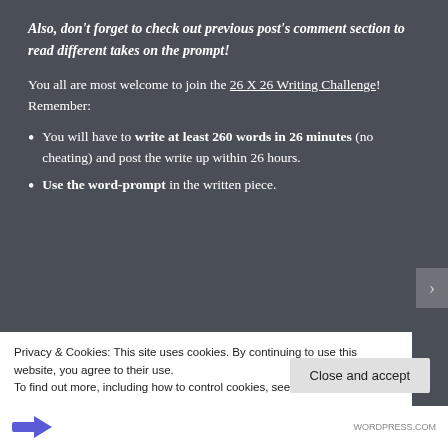Also, don't forget to check out previous post's comment section to read different takes on the prompt!
You all are most welcome to join the 26 X 26 Writing Challenge! Remember:
You will have to write at least 260 words in 26 minutes (no cheating) and post the write up within 26 hours.
Use the word-prompt in the written piece.
Privacy & Cookies: This site uses cookies. By continuing to use this website, you agree to their use.
To find out more, including how to control cookies, see here: Cookie Policy
Close and accept